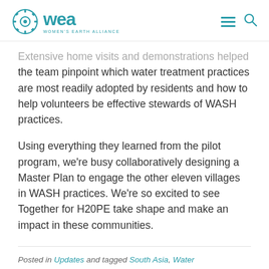WEA — Women's Earth Alliance
Extensive home visits and demonstrations helped the team pinpoint which water treatment practices are most readily adopted by residents and how to help volunteers be effective stewards of WASH practices.
Using everything they learned from the pilot program, we're busy collaboratively designing a Master Plan to engage the other eleven villages in WASH practices. We're so excited to see Together for H20PE take shape and make an impact in these communities.
Posted in Updates and tagged South Asia, Water